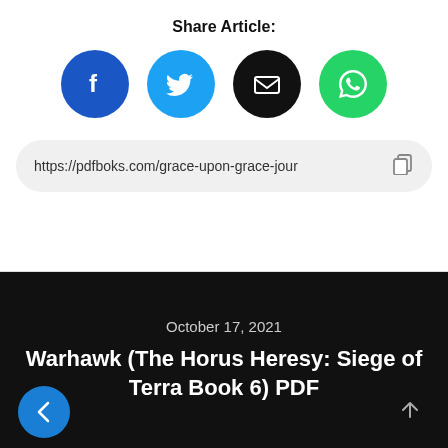Share Article:
[Figure (infographic): Four social share icon circles: Facebook (blue), Twitter (cyan), Email (black), WhatsApp (green)]
https://pdfboks.com/grace-upon-grace-jour
October 17, 2021
Warhawk (The Horus Heresy: Siege of Terra Book 6) PDF